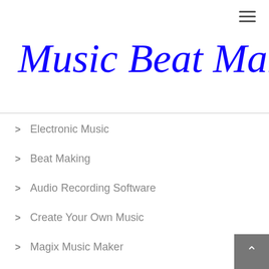Music Beat Maker
Electronic Music
Beat Making
Audio Recording Software
Create Your Own Music
Magix Music Maker
Mixing Software
Music Creation